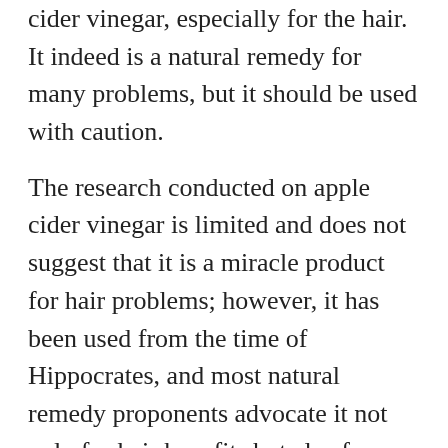cider vinegar, especially for the hair. It indeed is a natural remedy for many problems, but it should be used with caution.
The research conducted on apple cider vinegar is limited and does not suggest that it is a miracle product for hair problems; however, it has been used from the time of Hippocrates, and most natural remedy proponents advocate it not only for hair benefits but also for other skin and digestive problems.
Thus, you should try it out as per the recommended methods and see if it works for you. Moreover, the benefits amplify when used with other essential oils such as coconut or lavender, and it is known that Coconut oil itself has many benefits for the hair...